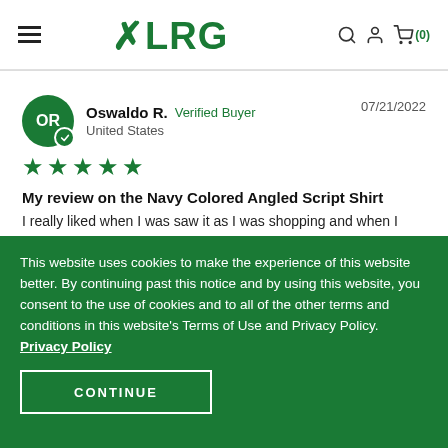LRG (logo, hamburger menu, search, account, cart)
Oswaldo R. Verified Buyer 07/21/2022 United States
★★★★★
My review on the Navy Colored Angled Script Shirt
I really liked when I was saw it as I was shopping and when I wore it with my J's. So shout out to LRG they've been where I get my good clothes at.
This website uses cookies to make the experience of this website better. By continuing past this notice and by using this website, you consent to the use of cookies and to all of the other terms and conditions in this website's Terms of Use and Privacy Policy. Privacy Policy
CONTINUE